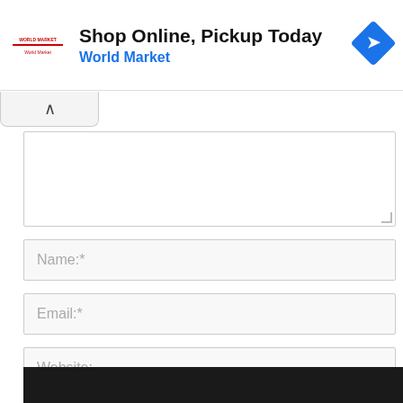[Figure (screenshot): Advertisement banner for World Market: 'Shop Online, Pickup Today' with World Market logo and blue turn arrow icon]
[Figure (screenshot): Web form with textarea, Name, Email, Website input fields, and a checkbox labeled 'Save my name, email, and website in this browser for the next time I comment.']